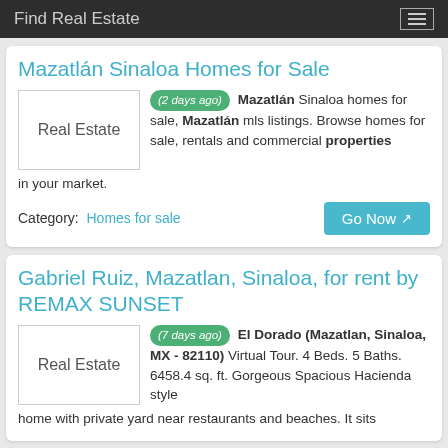Find Real Estate
Mazatlán Sinaloa Homes for Sale
(2 days ago) Mazatlán Sinaloa homes for sale, Mazatlán mls listings. Browse homes for sale, rentals and commercial properties in your market.
Category: Homes for sale
Gabriel Ruiz, Mazatlan, Sinaloa, for rent by REMAX SUNSET
(7 days ago) El Dorado (Mazatlan, Sinaloa, MX - 82110) Virtual Tour. 4 Beds. 5 Baths. 6458.4 sq. ft. Gorgeous Spacious Hacienda style home with private yard near restaurants and beaches. It sits